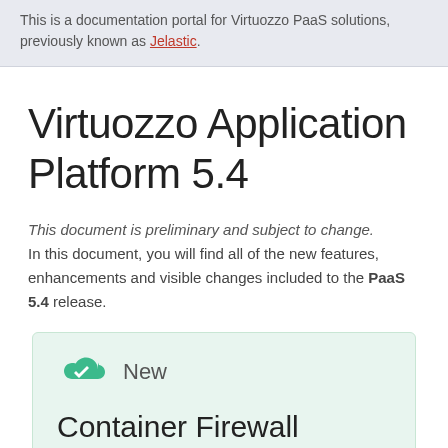This is a documentation portal for Virtuozzo PaaS solutions, previously known as Jelastic.
Virtuozzo Application Platform 5.4
This document is preliminary and subject to change. In this document, you will find all of the new features, enhancements and visible changes included to the PaaS 5.4 release.
New
Container Firewall Management